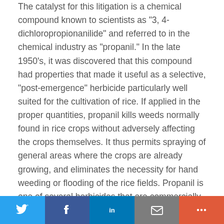The catalyst for this litigation is a chemical compound known to scientists as "3, 4-dichloropropionanilide" and referred to in the chemical industry as "propanil." In the late 1950's, it was discovered that this compound had properties that made it useful as a selective, "post-emergence" herbicide particularly well suited for the cultivation of rice. If applied in the proper quantities, propanil kills weeds normally found in rice crops without adversely affecting the crops themselves. It thus permits spraying of general areas where the crops are already growing, and eliminates the necessity for hand weeding or flooding of the rice fields. Propanil is one of several herbicides that are commercially available for use in rice cultivation.

Efforts to obtain patent rights to propanil or its use as a herbicide have been continuous since the herbicidal qualities of the chemical first came to light. The initial contender for a
[Figure (other): Social sharing bar with Twitter, Facebook, LinkedIn, Email, and More buttons]